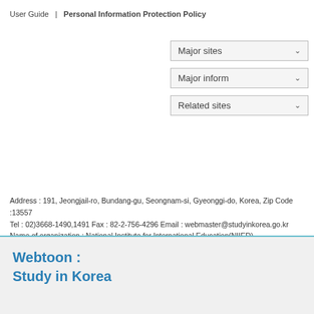User Guide  |  Personal Information Protection Policy
[Figure (screenshot): Three dropdown buttons: Major sites, Major inform, Related sites]
Address : 191, Jeongjail-ro, Bundang-gu, Seongnam-si, Gyeonggi-do, Korea, Zip Code :13557
Tel : 02)3668-1490,1491 Fax : 82-2-756-4296 Email : webmaster@studyinkorea.go.kr
Name of organization : National Institute for International Education(NIIED)
Proper Number : 208-83-00723 | Name of representative : Kim Young-gon
Copyright(c) 2008-2022 by NIIED All rights reserved.
Webtoon :
Study in Korea